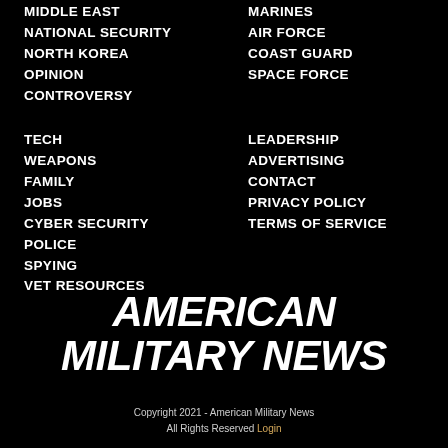MIDDLE EAST
NATIONAL SECURITY
NORTH KOREA
OPINION
CONTROVERSY
MARINES
AIR FORCE
COAST GUARD
SPACE FORCE
TECH
WEAPONS
FAMILY
JOBS
CYBER SECURITY
POLICE
SPYING
VET RESOURCES
LEADERSHIP
ADVERTISING
CONTACT
PRIVACY POLICY
TERMS OF SERVICE
[Figure (logo): American Military News logo in bold white italic uppercase text on black background]
Copyright 2021 - American Military News All Rights Reserved Login